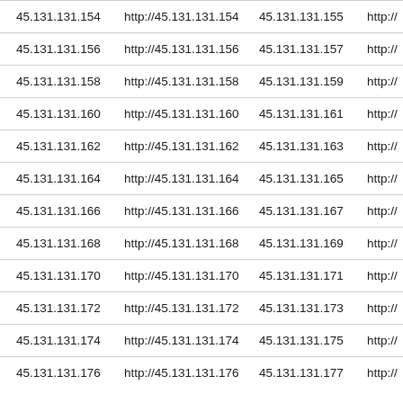| 45.131.131.154 | http://45.131.131.154 | 45.131.131.155 | http:// |
| 45.131.131.156 | http://45.131.131.156 | 45.131.131.157 | http:// |
| 45.131.131.158 | http://45.131.131.158 | 45.131.131.159 | http:// |
| 45.131.131.160 | http://45.131.131.160 | 45.131.131.161 | http:// |
| 45.131.131.162 | http://45.131.131.162 | 45.131.131.163 | http:// |
| 45.131.131.164 | http://45.131.131.164 | 45.131.131.165 | http:// |
| 45.131.131.166 | http://45.131.131.166 | 45.131.131.167 | http:// |
| 45.131.131.168 | http://45.131.131.168 | 45.131.131.169 | http:// |
| 45.131.131.170 | http://45.131.131.170 | 45.131.131.171 | http:// |
| 45.131.131.172 | http://45.131.131.172 | 45.131.131.173 | http:// |
| 45.131.131.174 | http://45.131.131.174 | 45.131.131.175 | http:// |
| 45.131.131.176 | http://45.131.131.176 | 45.131.131.177 | http:// |